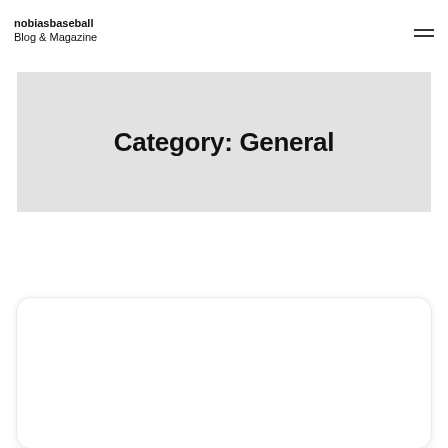nobiasbaseball Blog & Magazine
Category: General
[Figure (other): White card with rounded corners and subtle shadow, partially visible at bottom of page]